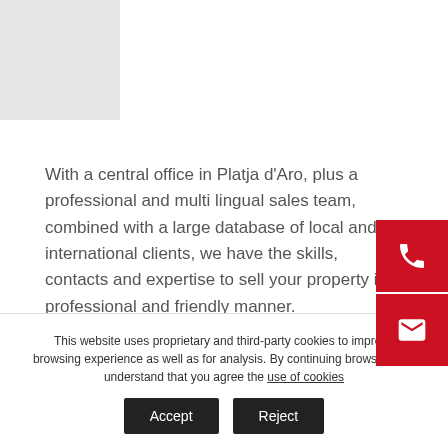[Figure (photo): Partial gray image in top-left corner, partially visible]
With a central office in Platja d'Aro, plus a professional and multi lingual sales team, combined with a large database of local and international clients, we have the skills, contacts and expertise to sell your property in a professional and friendly manner.
If you are an Owner of a detached villa, townhouse, traditional masia, rustic finca, plot of land or apartment to sell within the local area, then contact us. We will visit your property and provide you with a no obligation...
This website uses proprietary and third-party cookies to improve browsing experience as well as for analysis. By continuing browsing, we understand that you agree the use of cookies